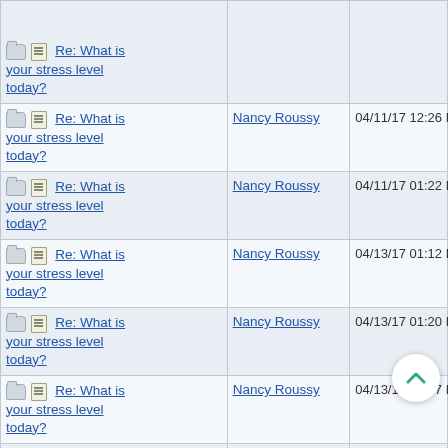| Subject | Author | Date |
| --- | --- | --- |
| Re: What is your stress level today? |  |  |
| Re: What is your stress level today? | Nancy Roussy | 04/11/17 12:26 PM |
| Re: What is your stress level today? | Nancy Roussy | 04/11/17 01:22 PM |
| Re: What is your stress level today? | Nancy Roussy | 04/13/17 01:12 PM |
| Re: What is your stress level today? | Nancy Roussy | 04/13/17 01:20 PM |
| Re: What is your stress level today? | Nancy Roussy | 04/13/17 01:57 PM |
| Re: What is your stress level today? | Nancy Roussy | 04/14/17 11:11 AM |
| Re: What is your stress level today? | Nancy Roussy | 04/14/17 03:27 PM |